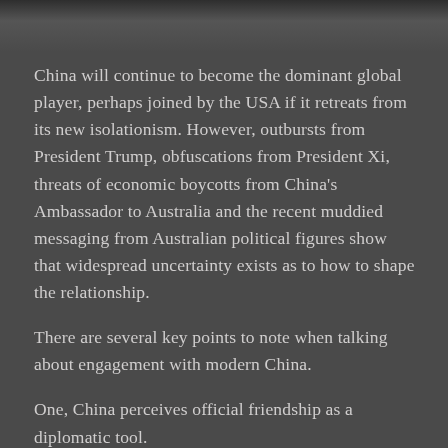[Figure (photo): Dark photographic image strip at the top of the page, partially visible.]
China will continue to become the dominant global player, perhaps joined by the USA if it retreats from its new isolationism. However, outbursts from President Trump, obfuscations from President Xi, threats of economic boycotts from China’s Ambassador to Australia and the recent muddied messaging from Australian political figures show that widespread uncertainty exists as to how to shape the relationship.
There are several key points to note when talking about engagement with modern China.
One, China perceives official friendship as a diplomatic tool.